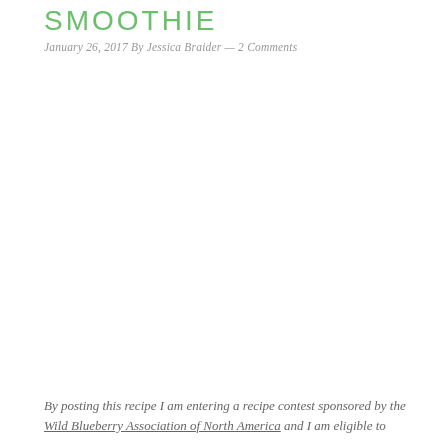SMOOTHIE
January 26, 2017 By Jessica Braider — 2 Comments
By posting this recipe I am entering a recipe contest sponsored by the Wild Blueberry Association of North America and I am eligible to